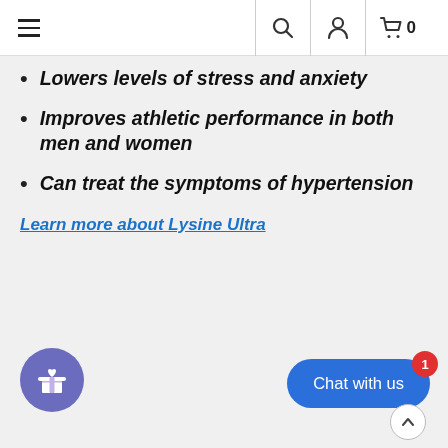Navigation bar with hamburger menu, search, user, and cart icons
Lowers levels of stress and anxiety
Improves athletic performance in both men and women
Can treat the symptoms of hypertension
Learn more about Lysine Ultra